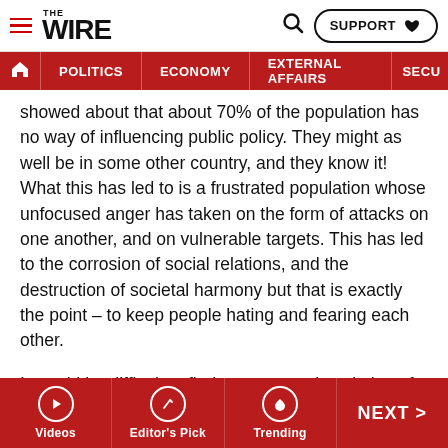THE WIRE — SUPPORT | POLITICS | ECONOMY | EXTERNAL AFFAIRS | SECU...
showed about that about 70% of the population has no way of influencing public policy. They might as well be in some other country, and they know it! What this has led to is a frustrated population whose unfocused anger has taken on the form of attacks on one another, and on vulnerable targets. This has led to the corrosion of social relations, and the destruction of societal harmony but that is exactly the point – to keep people hating and fearing each other.
It would be difficult to find a more apt description of the Modi years.
If we are to bring our democracy back on track, we the people, and our elected representatives, need to do the
Videos | Editor's Pick | Trending | NEXT >